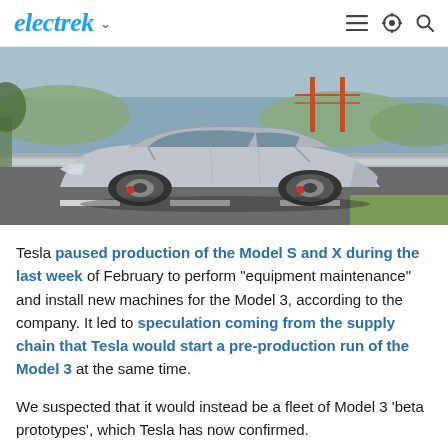electrek
[Figure (photo): Silver Tesla Model 3 prototype parked on a road with the Golden Gate Bridge and water visible in the background.]
Tesla paused production of the Model S and X during the last week of February to perform "equipment maintenance" and install new machines for the Model 3, according to the company. It led to speculation coming from the supply chain that Tesla would start a pre-production run of the Model 3 at the same time.
We suspected that it would instead be a fleet of Model 3 'beta prototypes', which Tesla has now confirmed.